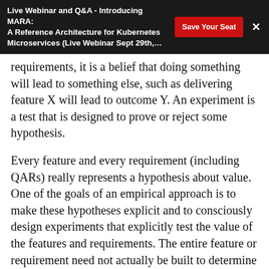Live Webinar and Q&A - Introducing MARA: A Reference Architecture for Kubernetes Microservices (Live Webinar Sept 29th,…
requirements, it is a belief that doing something will lead to something else, such as delivering feature X will lead to outcome Y. An experiment is a test that is designed to prove or reject some hypothesis.
Every feature and every requirement (including QARs) really represents a hypothesis about value. One of the goals of an empirical approach is to make these hypotheses explicit and to consciously design experiments that explicitly test the value of the features and requirements. The entire feature or requirement need not actually be built to determine whether it is valuable; it may be sufficient for a team to simply build enough of it to validate critical assumptions that would prove or disprove its value.